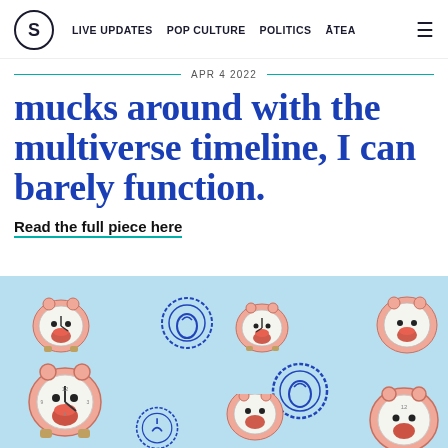S | LIVE UPDATES  POP CULTURE  POLITICS  ĀTEA
APR 4 2022
mucks around with the multiverse timeline, I can barely function.
Read the full piece here
[Figure (photo): Illustrated alarm clocks with open mouths and surprised expressions scattered across a light blue background, with blue circular stamp designs. The clocks have pink/peach coloring with clock faces showing expressions like faces.]